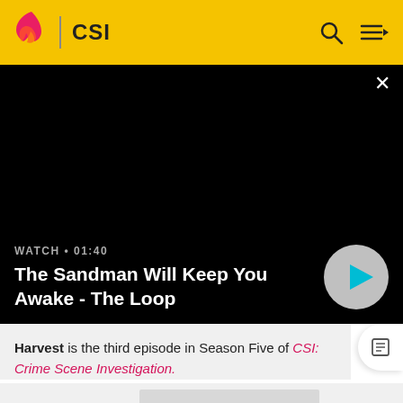CSI
[Figure (screenshot): Black video player area showing a dark/blank video screen with a close (X) button in the top right corner]
WATCH • 01:40
The Sandman Will Keep You Awake - The Loop
Harvest is the third episode in Season Five of CSI: Crime Scene Investigation.